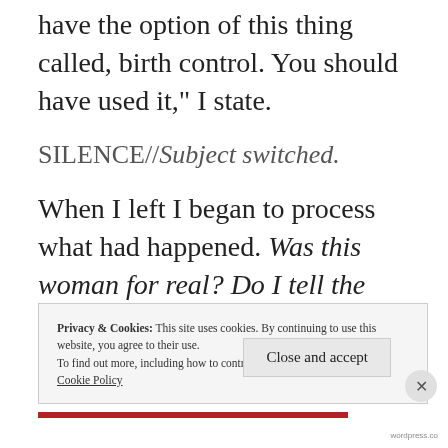have the option of this thing called, birth control. You should have used it," I state.
SILENCE//Subject switched.
When I left I began to process what had happened. Was this woman for real? Do I tell the doctor? ::BRAIN SPINNING::
Privacy & Cookies: This site uses cookies. By continuing to use this website, you agree to their use.
To find out more, including how to control cookies, see here:
Cookie Policy
Close and accept